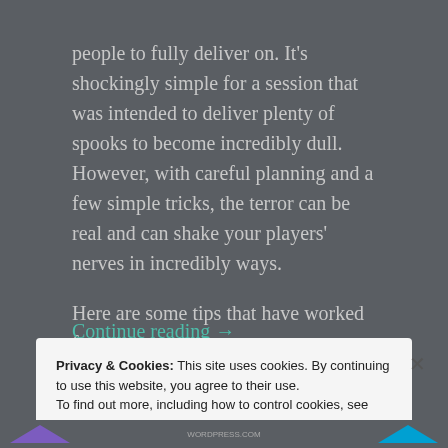people to fully deliver on. It's shockingly simple for a session that was intended to deliver plenty of spooks to become incredibly dull. However, with careful planning and a few simple tricks, the terror can be real and can shake your players' nerves in incredibly ways.
Here are some tips that have worked for me.
Continue reading →
Privacy & Cookies: This site uses cookies. By continuing to use this website, you agree to their use.
To find out more, including how to control cookies, see here: Cookie Policy
Close and accept